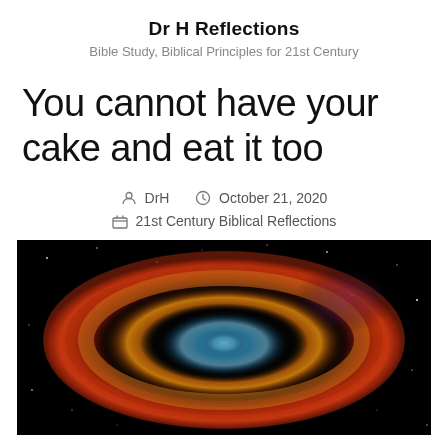Dr H Reflections
Bible Study, Biblical Principles for 21st Century
You cannot have your cake and eat it too
DrH  October 21, 2020  21st Century Biblical Reflections
[Figure (photo): Helix Nebula — a deep space nebula with swirling red, orange, gold, and blue glowing gas clouds against a black starfield, resembling a cosmic eye.]